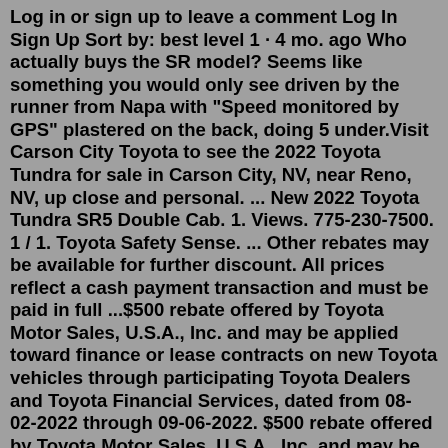Log in or sign up to leave a comment Log In Sign Up Sort by: best level 1 · 4 mo. ago Who actually buys the SR model? Seems like something you would only see driven by the runner from Napa with "Speed monitored by GPS" plastered on the back, doing 5 under.Visit Carson City Toyota to see the 2022 Toyota Tundra for sale in Carson City, NV, near Reno, NV, up close and personal. ... New 2022 Toyota Tundra SR5 Double Cab. 1. Views. 775-230-7500. 1 / 1. Toyota Safety Sense. ... Other rebates may be available for further discount. All prices reflect a cash payment transaction and must be paid in full ...$500 rebate offered by Toyota Motor Sales, U.S.A., Inc. and may be applied toward finance or lease contracts on new Toyota vehicles through participating Toyota Dealers and Toyota Financial Services, dated from 08-02-2022 through 09-06-2022. $500 rebate offered by Toyota Motor Sales, U.S.A., Inc. and may be applied toward finance or lease contracts on new Toyota vehicles through participating Toyota Dealers and Toyota Financial Services, dated from 08-02-2022 through